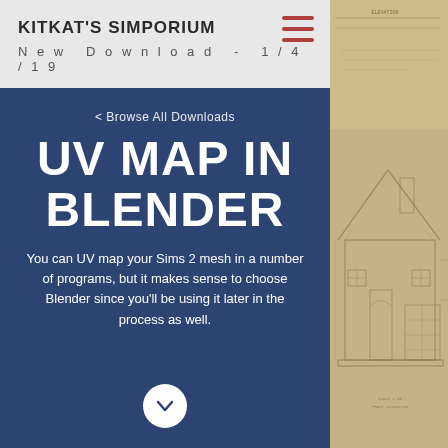KITKAT'S SIMPORIUM
New Download - 1/4/19
< Browse All Downloads
UV MAP IN BLENDER
You can UV map your Sims 2 mesh in a number of programs, but it makes sense to choose Blender since you'll be using it later in the process as well.
[Figure (illustration): Architectural blueprint drawing of a house elevation on aged paper background (sepia/tan tones) visible in right column]